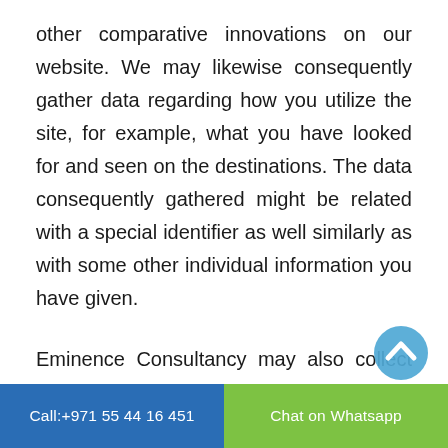other comparative innovations on our website. We may likewise consequently gather data regarding how you utilize the site, for example, what you have looked for and seen on the destinations. The data consequently gathered might be related with a special identifier as well similarly as with some other individual information you have given.
Eminence Consultancy may also collect individual information about you from outsiders, for example, information intermediaries or aggregators, throughout its business exercises remembering for association with some client administrations. This incorporates segment, proficient and other data that is freely accessible web-based, including data you decide to unveil through web-
Call:+971 55 44 16 451   Chat on Whatsapp